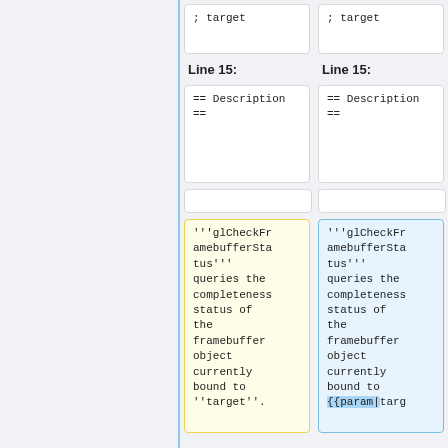; target
; target
Line 15:
Line 15:
== Description ==
== Description ==
'''glCheckFramebufferStatus''' queries the completeness status of the framebuffer object currently bound to ''target''.
'''glCheckFramebufferStatus''' queries the completeness status of the framebuffer object currently bound to {{param|targ